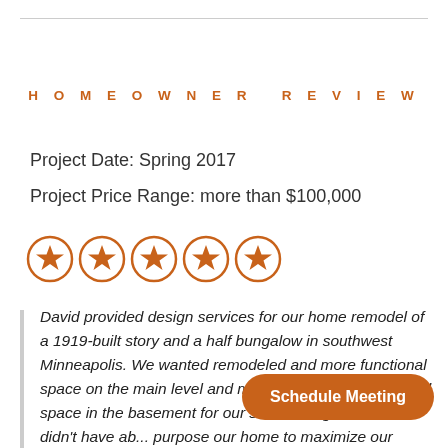HOMEOWNER REVIEW
Project Date: Spring 2017
Project Price Range: more than $100,000
[Figure (other): Five orange star rating icons in circles]
David provided design services for our home remodel of a 1919-built story and a half bungalow in southwest Minneapolis. We wanted remodeled and more functional space on the main level and more finished and functional space in the basement for our son... brought vision we didn't have ab... purpose our home to maximize our goals within our budget.